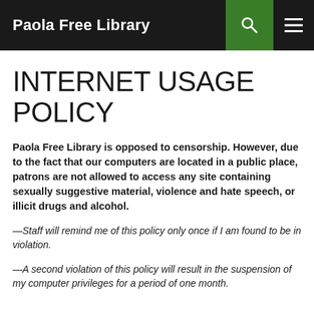Paola Free Library
INTERNET USAGE POLICY
Paola Free Library is opposed to censorship. However, due to the fact that our computers are located in a public place, patrons are not allowed to access any site containing sexually suggestive material, violence and hate speech, or illicit drugs and alcohol.
—Staff will remind me of this policy only once if I am found to be in violation.
—A second violation of this policy will result in the suspension of my computer privileges for a period of one month.